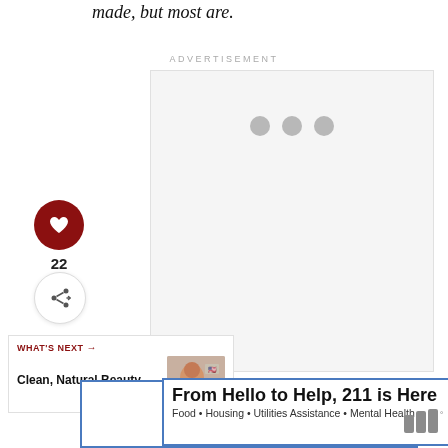made, but most are.
ADVERTISEMENT
[Figure (other): Advertisement placeholder box with three grey loading dots]
[Figure (other): Heart/like button (dark red circle with white heart icon), like count 22, and share button]
22
[Figure (other): What's Next promo card with label 'WHAT'S NEXT →' and text 'Clean, Natural Beauty...' with a thumbnail image]
[Figure (other): Banner advertisement: 'From Hello to Help, 211 is Here' with subtitle 'Food • Housing • Utilities Assistance • Mental Health']